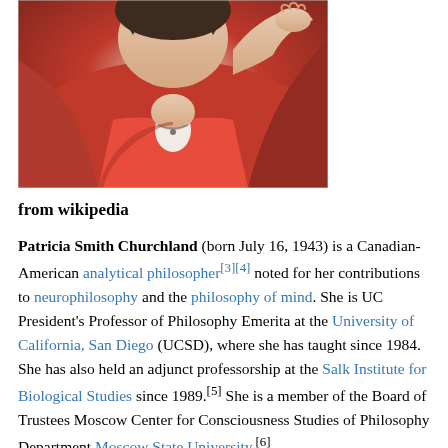[Figure (photo): Photo of Patricia Smith Churchland wearing a red jacket, hand raised near her head]
from wikipedia
Patricia Smith Churchland (born July 16, 1943) is a Canadian-American analytical philosopher[3][4] noted for her contributions to neurophilosophy and the philosophy of mind. She is UC President's Professor of Philosophy Emerita at the University of California, San Diego (UCSD), where she has taught since 1984. She has also held an adjunct professorship at the Salk Institute for Biological Studies since 1989.[5] She is a member of the Board of Trustees Moscow Center for Consciousness Studies of Philosophy Department Moscow State University.[6]